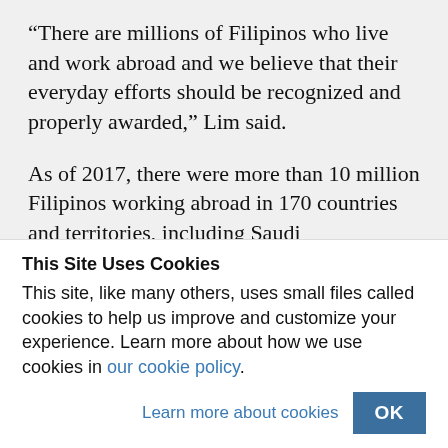“There are millions of Filipinos who live and work abroad and we believe that their everyday efforts should be recognized and properly awarded,” Lim said.
As of 2017, there were more than 10 million Filipinos working abroad in 170 countries and territories, including Saudi
This Site Uses Cookies
This site, like many others, uses small files called cookies to help us improve and customize your experience. Learn more about how we use cookies in our cookie policy.
Learn more about cookies
OK